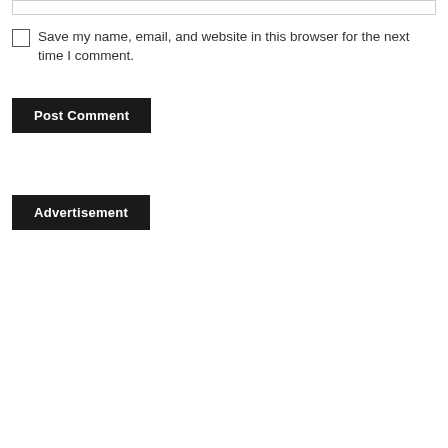Save my name, email, and website in this browser for the next time I comment.
Post Comment
Advertisement